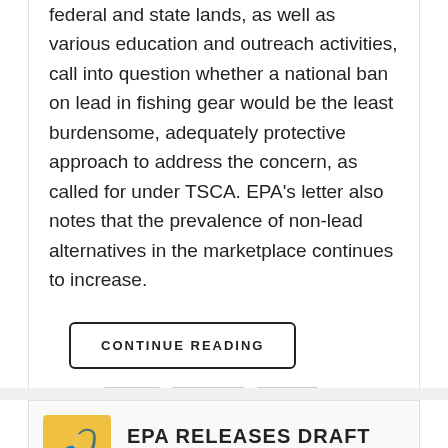federal and state lands, as well as various education and outreach activities, call into question whether a national ban on lead in fishing gear would be the least burdensome, adequately protective approach to address the concern, as called for under TSCA. EPA's letter also notes that the prevalence of non-lead alternatives in the marketplace continues to increase.
CONTINUE READING
Tags: EPA  fishing  Lead
9859
EPA RELEASES DRAFT PLAN ON RE-